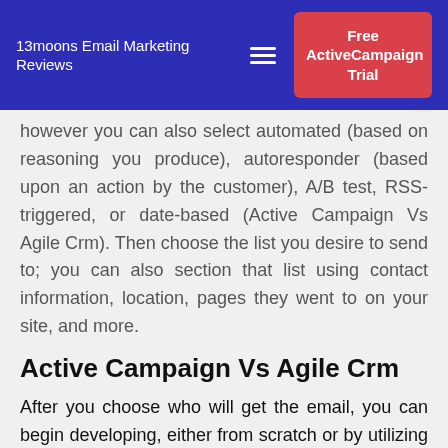13moons Email Marketing Reviews | Free ActiveCampaign Trial
You'll most likely send campaigns online and most, however you can also select automated (based on reasoning you produce), autoresponder (based upon an action by the customer), A/B test, RSS-triggered, or date-based (Active Campaign Vs Agile Crm). Then choose the list you desire to send to; you can also section that list using contact information, location, pages they went to on your site, and more.
Active Campaign Vs Agile Crm
After you choose who will get the email, you can begin developing, either from scratch or by utilizing among their pre-designed design templates. Beginning from scratch indicates you